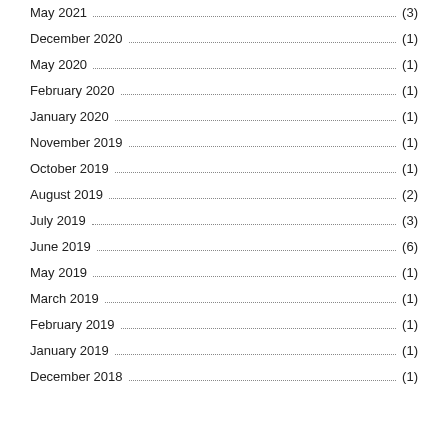May 2021 (3)
December 2020 (1)
May 2020 (1)
February 2020 (1)
January 2020 (1)
November 2019 (1)
October 2019 (1)
August 2019 (2)
July 2019 (3)
June 2019 (6)
May 2019 (1)
March 2019 (1)
February 2019 (1)
January 2019 (1)
December 2018 (1)